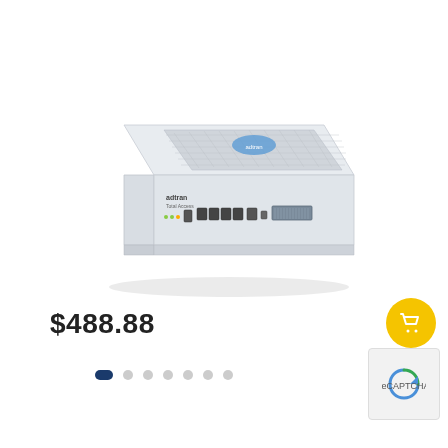[Figure (photo): A white network router/appliance device shown in isometric perspective view. The device has a vented top panel with a blue logo, and the front panel shows ethernet ports, a USB port, and a serial/parallel connector. The device appears to be a DSL or enterprise router/gateway appliance.]
$488.88